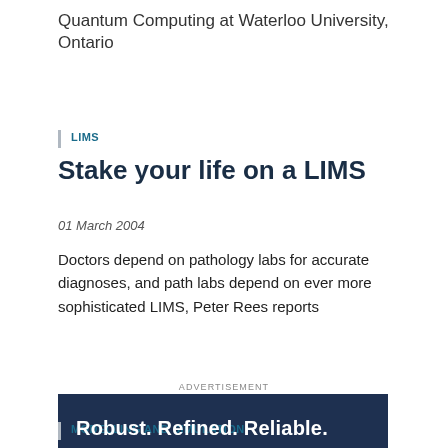Quantum Computing at Waterloo University, Ontario
LIMS
Stake your life on a LIMS
01 March 2004
Doctors depend on pathology labs for accurate diagnoses, and path labs depend on ever more sophisticated LIMS, Peter Rees reports
ADVERTISEMENT
[Figure (infographic): Advertisement banner with dark navy background showing text 'Robust. Refined. Reliable.' with a cyan stripe and bottom bar reading 'Learn more about CoolIT's Manufacturing Expertise']
MODELLING AND SIMULATION